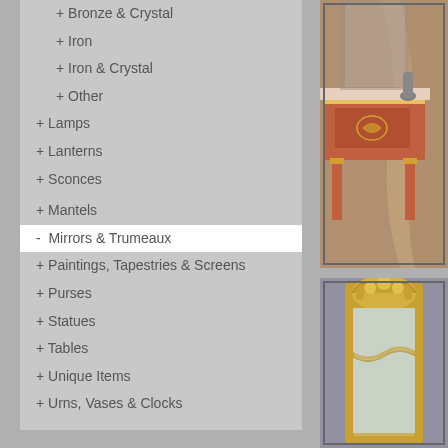+ Bronze & Crystal
+ Iron
+ Iron & Crystal
+ Other
+ Lamps
+ Lanterns
+ Sconces
+ Mantels
- Mirrors & Trumeaux
+ Paintings, Tapestries & Screens
+ Purses
+ Statues
+ Tables
+ Unique Items
+ Urns, Vases & Clocks
[Figure (photo): Antique ornate wooden console table with gilt decoration, red/terracotta color, shown against a draped curtain background]
[Figure (photo): Tall ornate gilt mirror with decorative floral and rococo carved frame, shown in a room setting]